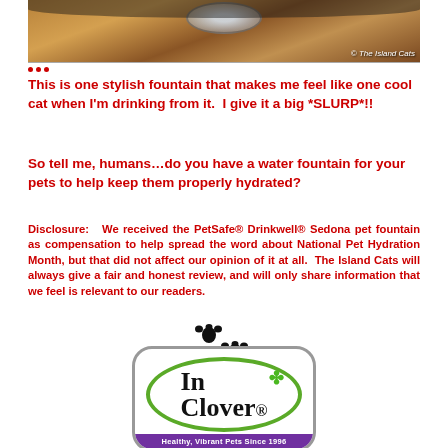[Figure (photo): Top portion of a cat drinking fountain on a wooden surface, with watermark '© The Island Cats' in bottom right corner]
This is one stylish fountain that makes me feel like one cool cat when I'm drinking from it.  I give it a big *SLURP*!!
So tell me, humans…do you have a water fountain for your pets to help keep them properly hydrated?
Disclosure:   We received the PetSafe® Drinkwell® Sedona pet fountain as compensation to help spread the word about National Pet Hydration Month, but that did not affect our opinion of it at all.  The Island Cats will always give a fair and honest review, and will only share information that we feel is relevant to our readers.
[Figure (logo): Paw print emoji decoration]
[Figure (logo): In Clover logo — green oval border with 'In' and 'Clover.' text and a green shamrock/clover icon, purple banner at bottom reading 'Healthy, Vibrant Pets Since 1996']